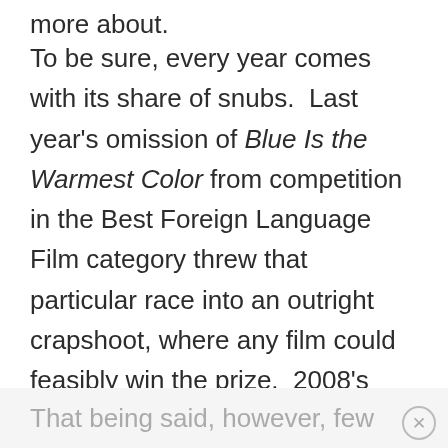more about. To be sure, every year comes with its share of snubs. Last year's omission of Blue Is the Warmest Color from competition in the Best Foreign Language Film category threw that particular race into an outright crapshoot, where any film could feasibly win the prize. 2008's exclusion of The Dark Knight from Best Picture contention is directly attributed to why that category was broadened from only five nominees. That being said, however, few